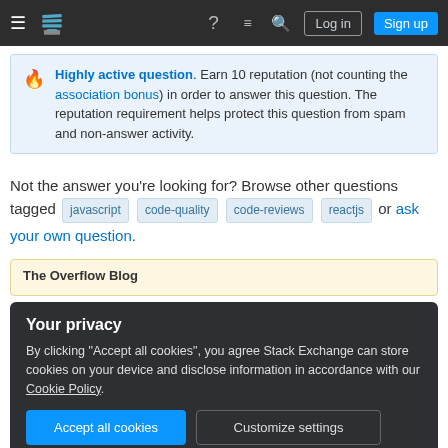Stack Exchange navigation bar with hamburger menu, logo, help, chat, search icons, Log in and Sign up buttons
Highly active question. Earn 10 reputation (not counting the association bonus) in order to answer this question. The reputation requirement helps protect this question from spam and non-answer activity.
Not the answer you're looking for? Browse other questions tagged javascript code-quality code-reviews reactjs or ask your own question.
The Overflow Blog
Your privacy
By clicking "Accept all cookies", you agree Stack Exchange can store cookies on your device and disclose information in accordance with our Cookie Policy.
Recent site instability, major outages – July/August 2022